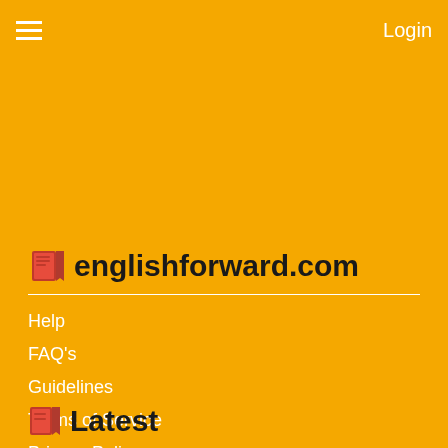Login
englishforward.com
Help
FAQ's
Guidelines
Terms of Service
Privacy Policy
Latest